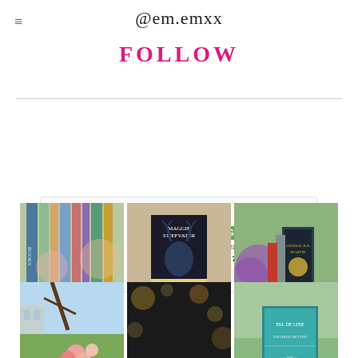@em.emxx
FOLLOW
[Figure (screenshot): Instagram profile for em.emxx showing avatar, following button, bio 'Em escape artist instagram.com/em.m/xx', stats: 351 posts, 5,580 followers, 702 following, and a 3x2 grid of book photography images]
em.emxx FOLLOWING ... Em escape artist instagram.com/em.m/xx 351 posts 5,580 followers 702 following